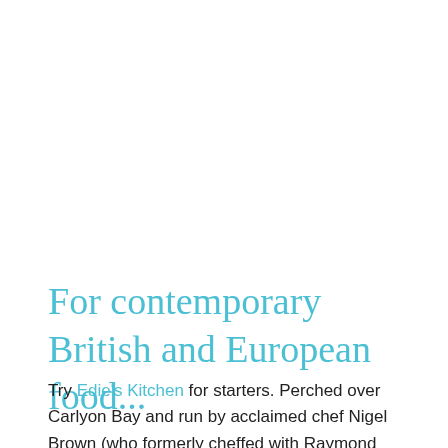For contemporary British and European food...
Try Edie's Kitchen for starters. Perched over Carlyon Bay and run by acclaimed chef Nigel Brown (who formerly cheffed with Raymond Blanc and Bill